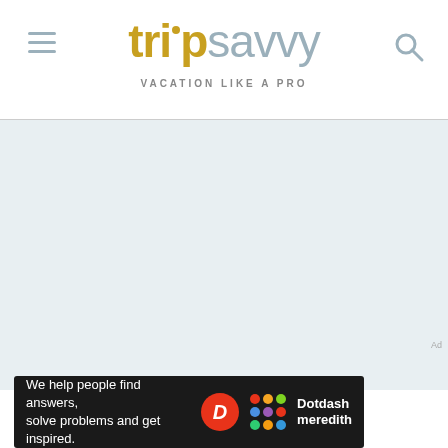tripsavvy VACATION LIKE A PRO
[Figure (screenshot): Light blue-gray placeholder content area below the TripSavvy navigation header]
Ad
[Figure (logo): Dotdash Meredith advertisement banner: 'We help people find answers, solve problems and get inspired.' with Dotdash Meredith logo]